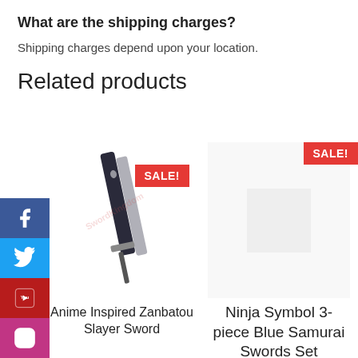What are the shipping charges?
Shipping charges depend upon your location.
Related products
[Figure (photo): Product image of Anime Inspired Zanbatou Slayer Sword with SALE! badge]
Anime Inspired Zanbatou Slayer Sword
[Figure (photo): Product listing for Ninja Symbol 3-piece Blue Samurai Swords Set with SALE! badge, star rating, original price $180.00 and sale price $119.64]
Ninja Symbol 3-piece Blue Samurai Swords Set
$180.00  $119.64